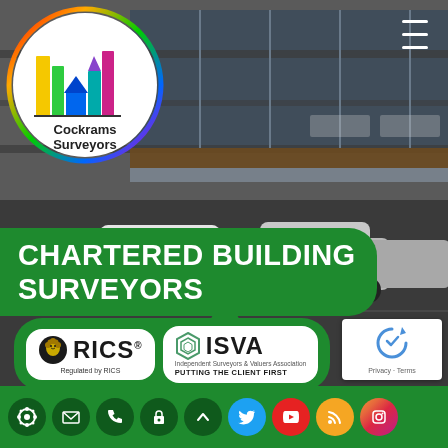[Figure (photo): Background photo of modern commercial building exterior with parked cars in foreground, grey facade with glass railings]
[Figure (logo): Cockrams Surveyors circular logo with colourful building/skyline graphic and rainbow circle border]
CHARTERED BUILDING SURVEYORS
[Figure (logo): RICS logo — lion crest with 'RICS' text and 'Regulated by RICS' tagline on white rounded background]
[Figure (logo): ISVA logo — hexagon graphic with 'ISVA' text, 'Independent Surveyors & Valuers Association' and 'PUTTING THE CLIENT FIRST' on white rounded background]
Social media icons bar: Cockrams icon, email, phone, lock, up-arrow, Twitter, YouTube, RSS, Instagram
[Figure (other): reCAPTCHA widget with Privacy and Terms text]